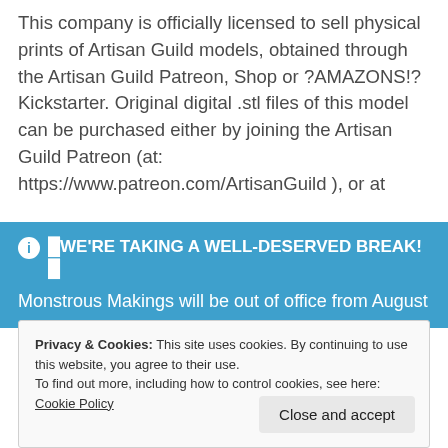This company is officially licensed to sell physical prints of Artisan Guild models, obtained through the Artisan Guild Patreon, Shop or ?AMAZONS!? Kickstarter. Original digital .stl files of this model can be purchased either by joining the Artisan Guild Patreon (at: https://www.patreon.com/ArtisanGuild ), or at
🛈 🔴WE'RE TAKING A WELL-DESERVED BREAK!🔴 Monstrous Makings will be out of office from August 15th to August 29th, Orders placed now will not be processed until we return to work, unless the order is for all digital content then the website should handle that
Privacy & Cookies: This site uses cookies. By continuing to use this website, you agree to their use. To find out more, including how to control cookies, see here: Cookie Policy
Close and accept